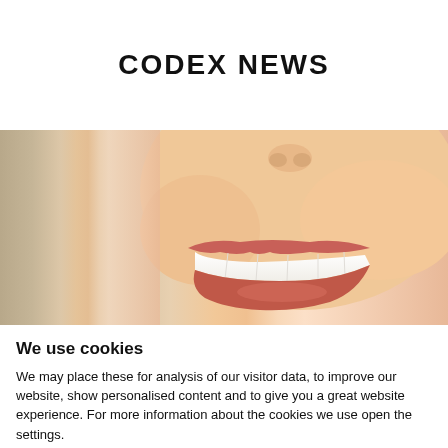CODEX NEWS
[Figure (photo): Close-up photo of a woman smiling with white teeth, showing the lower half of the face including nose and lips against a beige/neutral background]
We use cookies
We may place these for analysis of our visitor data, to improve our website, show personalised content and to give you a great website experience. For more information about the cookies we use open the settings.
Accept all
Deny
No, adjust the settings